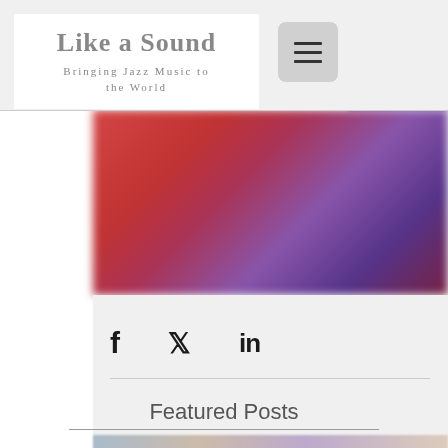Like a Sound — Bringing Jazz Music to the World
[Figure (screenshot): Blurred hero banner image with red and purple tones, partially visible behind the navigation overlay]
[Figure (infographic): Social share icons: Facebook (f), Twitter (bird), LinkedIn (in)]
Featured Posts
[Figure (photo): Partially visible thumbnail of a person at the bottom of the page]